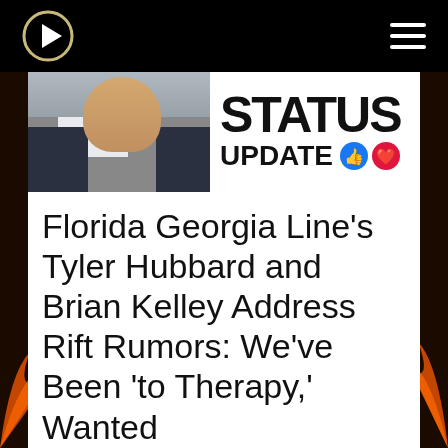Navigation bar with play button and hamburger menu
[Figure (screenshot): Header image showing a person in a dark suit on the left, and 'Status Update' logo with thumbs up and heart emoji icons on the right]
Florida Georgia Line's Tyler Hubbard and Brian Kelley Address Rift Rumors: We've Been 'to Therapy,' Wanted